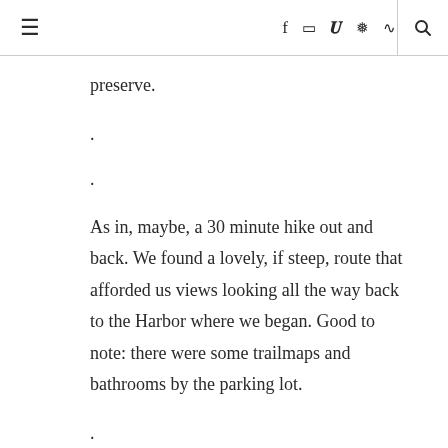≡  f  [instagram]  [twitter]  [pinterest]  [rss]  🔍
preserve.
.
.
As in, maybe, a 30 minute hike out and back. We found a lovely, if steep, route that afforded us views looking all the way back to the Harbor where we began. Good to note: there were some trailmaps and bathrooms by the parking lot.
.
.